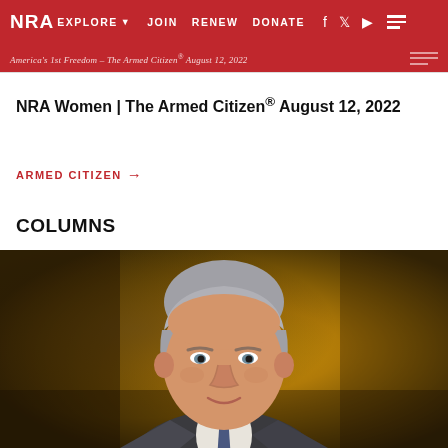NRA EXPLORE ▾  JOIN  RENEW  DONATE
America's 1st Freedom – The Armed Citizen® August 12, 2022
NRA Women | The Armed Citizen® August 12, 2022
ARMED CITIZEN →
COLUMNS
[Figure (photo): Professional headshot of a middle-aged man with gray hair wearing a gray suit and blue tie, photographed against a warm golden-brown bokeh background]